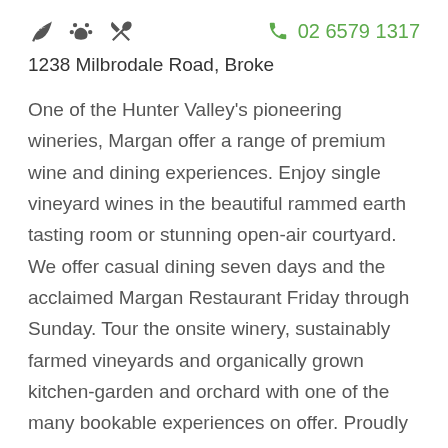[Figure (infographic): Row of three icons (leaf, paw print, fork and knife) on the left, and a phone icon with the number 02 6579 1317 in green on the right]
1238 Milbrodale Road, Broke
One of the Hunter Valley's pioneering wineries, Margan offer a range of premium wine and dining experiences. Enjoy single vineyard wines in the beautiful rammed earth tasting room or stunning open-air courtyard. We offer casual dining seven days and the acclaimed Margan Restaurant Friday through Sunday. Tour the onsite winery, sustainably farmed vineyards and organically grown kitchen-garden and orchard with one of the many bookable experiences on offer. Proudly